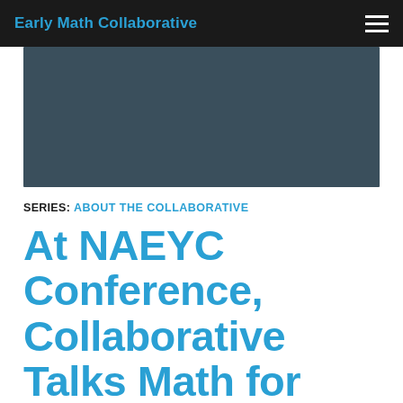Early Math Collaborative
[Figure (photo): Dark blue-grey hero image placeholder, likely a video thumbnail or banner image]
SERIES: ABOUT THE COLLABORATIVE
At NAEYC Conference, Collaborative Talks Math for Babies and Toddlers